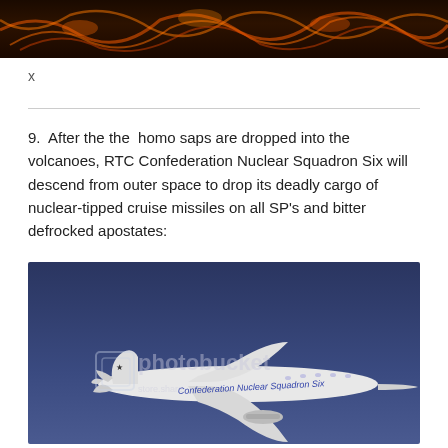[Figure (photo): Dark image showing lava or fire with orange glowing streaks against a dark background, partially visible at top of page.]
x
9.  After the the  homo saps are dropped into the volcanoes, RTC Confederation Nuclear Squadron Six will descend from outer space to drop its deadly cargo of nuclear-tipped cruise missiles on all SP's and bitter defrocked apostates:
[Figure (photo): Photo of a white commercial aircraft with 'Confederation Nuclear Squadron Six' written in blue on its fuselage, flying against a dark blue sky. A photobucket watermark is visible.]